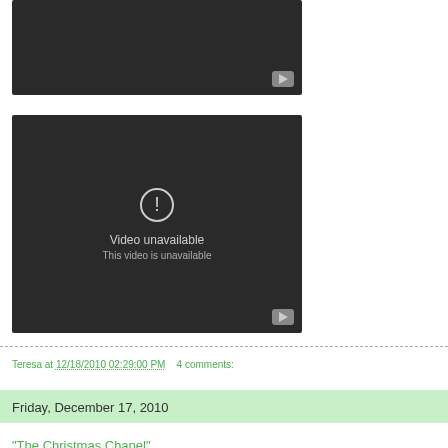[Figure (screenshot): Dark video player thumbnail with play button in bottom-right corner, no content visible]
[Figure (screenshot): Dark video player showing 'Video unavailable / This video is unavailable' message with exclamation icon circle, play button in bottom-right]
Teresa at 12/18/2010 02:29:00 PM    4 comments:
Friday, December 17, 2010
"The Christmas Chapel"